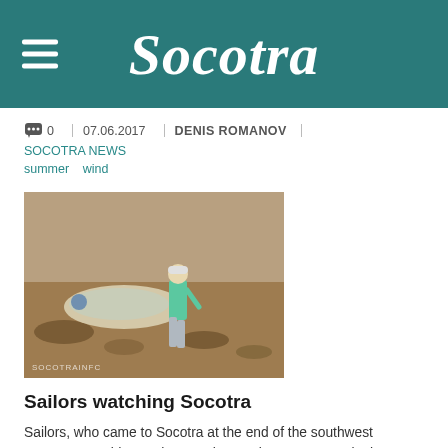Socotra
💬 0  |  07.06.2017  |  DENIS ROMANOV  |
SOCOTRA NEWS
summer  wind
[Figure (photo): Person in a turquoise shirt and grey shorts walking near a rocky shoreline, with sandy/rocky terrain and water in the background. Watermark reads SOCOTRAINFC]
Sailors watching Socotra
Sailors, who came to Socotra at the end of the southwest monsoon, could see what was happening on Socotra in the summer. The weather is very different from the usual. In the mountains is cool and cloudy. On the north shore of Socotra blowing very strong wind.
💬 0  |  10.08.2016  |  DENIS ROMANOV